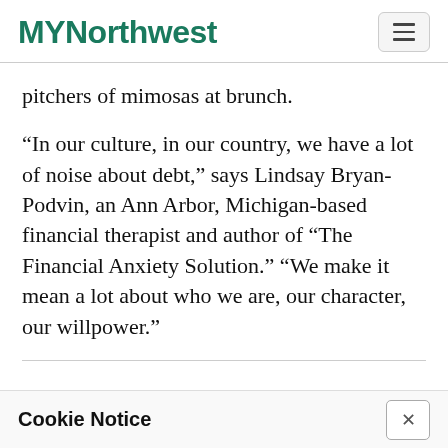MYNorthwest
pitchers of mimosas at brunch.
“In our culture, in our country, we have a lot of noise about debt,” says Lindsay Bryan-Podvin, an Ann Arbor, Michigan-based financial therapist and author of “The Financial Anxiety Solution.” “We make it mean a lot about who we are, our character, our willpower.”
Cookie Notice